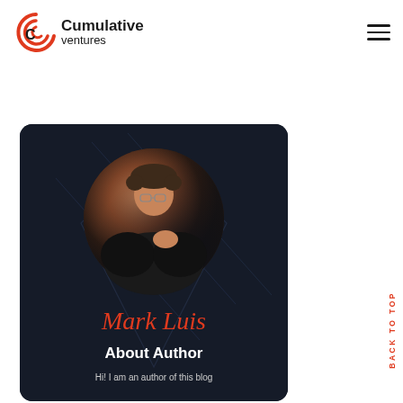Cumulative ventures
[Figure (photo): Author card with dark background showing a young man with glasses and curly hair in a circle, handwritten signature 'Mark Luis', 'About Author' heading, and 'Hi! I am an author of this blog' text]
BACK TO TOP